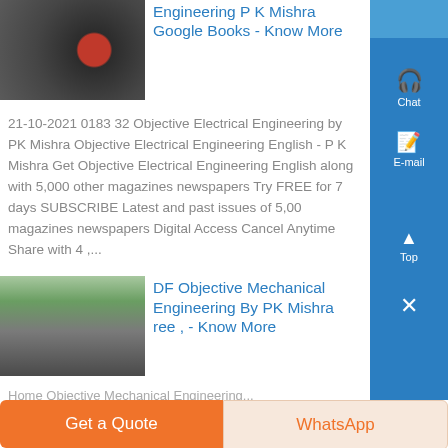[Figure (photo): Industrial machine part, dark metallic with red circular component]
Engineering P K Mishra Google Books - Know More
21-10-2021 0183 32 Objective Electrical Engineering by PK Mishra Objective Electrical Engineering English - P K Mishra Get Objective Electrical Engineering English along with 5,000 other magazines newspapers Try FREE for 7 days SUBSCRIBE Latest and past issues of 5,000 magazines newspapers Digital Access Cancel Anytime Share with 4 ,...
[Figure (photo): Factory floor with workers and industrial equipment, green floor visible]
PDF Objective Mechanical Engineering By PK Mishra Free , - Know More
Home Objective Mechanical Engineering...